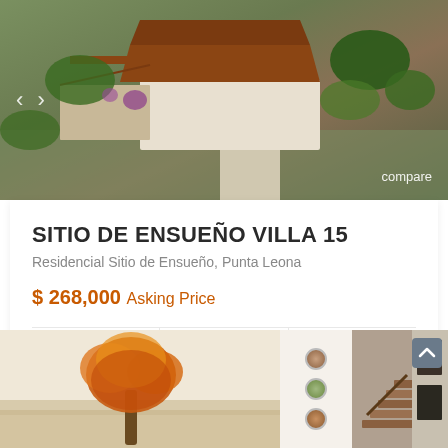[Figure (photo): Aerial view of a villa with terracotta roof, surrounded by tropical gardens and greenery, with navigation arrows and compare label overlay]
SITIO DE ENSUEÑO VILLA 15
Residencial Sitio de Ensueño, Punta Leona
$ 268,000 Asking Price
3 bedrooms  3 baths  180 m² size
Pura Vida Rentals
July 6, 2020
[Figure (photo): Three bottom photos: autumn tree painting, decorative wall plates on white wall, interior staircase with wooden banister]